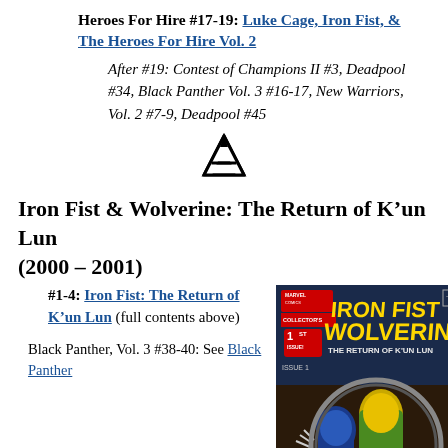Heroes For Hire #17-19: Luke Cage, Iron Fist, & The Heroes For Hire Vol. 2
After #19: Contest of Champions II #3, Deadpool #34, Black Panther Vol. 3 #16-17, New Warriors, Vol. 2 #7-9, Deadpool #45
[Figure (illustration): Avengers logo symbol (stylized A)]
Iron Fist & Wolverine: The Return of K’un Lun (2000 – 2001)
#1-4: Iron Fist: The Return of K’un Lun (full contents above)
Black Panther, Vol. 3 #38-40: See Black Panther